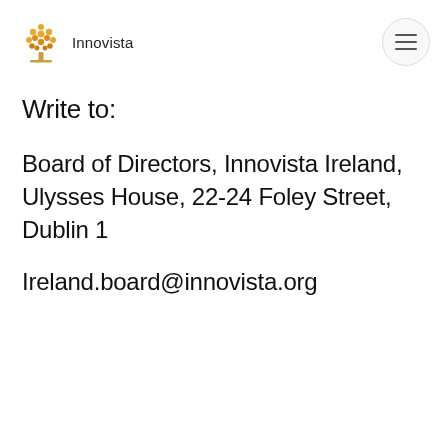Innovista
Write to:
Board of Directors, Innovista Ireland, Ulysses House, 22-24 Foley Street, Dublin 1
Ireland.board@innovista.org